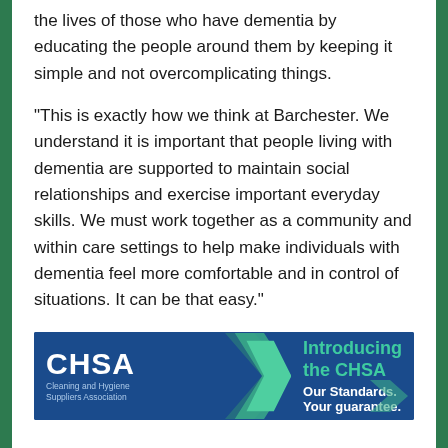the lives of those who have dementia by educating the people around them by keeping it simple and not overcomplicating things.
“This is exactly how we think at Barchester. We understand it is important that people living with dementia are supported to maintain social relationships and exercise important everyday skills. We must work together as a community and within care settings to help make individuals with dementia feel more comfortable and in control of situations. It can be that easy.”
[Figure (logo): CHSA (Cleaning and Hygiene Suppliers Association) advertisement banner. Blue background with white CHSA logo on the left, teal chevron arrows in the middle, and teal/white text reading 'Introducing the CHSA / Our Standards. Your guarantee.' on the right.]